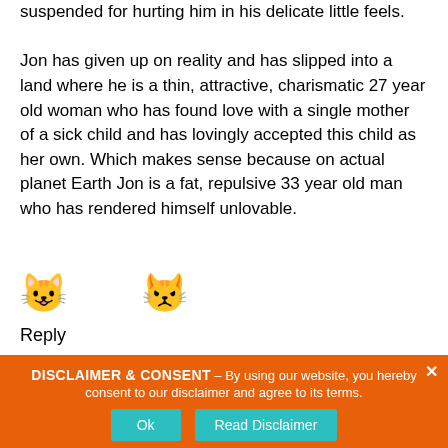suspended for hurting him in his delicate little feels. Jon has given up on reality and has slipped into a land where he is a thin, attractive, charismatic 27 year old woman who has found love with a single mother of a sick child and has lovingly accepted this child as her own. Which makes sense because on actual planet Earth Jon is a fat, repulsive 33 year old man who has rendered himself unlovable.
[Figure (illustration): Two cat emojis: a smiling cat face and an angry/displeased cat face]
Reply
DISCLAIMER & CONSENT – By using our website, you hereby consent to our disclaimer and agree to its terms.